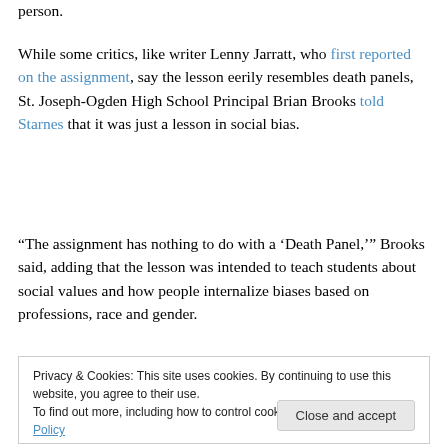person.
While some critics, like writer Lenny Jarratt, who first reported on the assignment, say the lesson eerily resembles death panels, St. Joseph-Ogden High School Principal Brian Brooks told Starnes that it was just a lesson in social bias.
“The assignment has nothing to do with a ‘Death Panel,’” Brooks said, adding that the lesson was intended to teach students about social values and how people internalize biases based on professions, race and gender.
Privacy & Cookies: This site uses cookies. By continuing to use this website, you agree to their use.
To find out more, including how to control cookies, see here: Cookie Policy